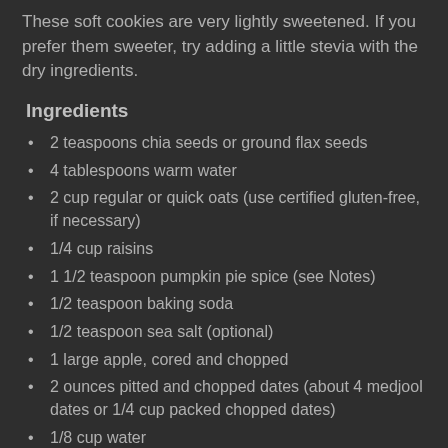These soft cookies are very lightly sweetened. If you prefer them sweeter, try adding a little stevia with the dry ingredients.
Ingredients
2 teaspoons chia seeds or ground flax seeds
4 tablespoons warm water
2 cup regular or quick oats (use certified gluten-free, if necessary)
1/4 cup raisins
1 1/2 teaspoon pumpkin pie spice (see Notes)
1/2 teaspoon baking soda
1/2 teaspoon sea salt (optional)
1 large apple, cored and chopped
2 ounces pitted and chopped dates (about 4 medjool dates or 1/4 cup packed chopped dates)
1/8 cup water
1 teaspoon apple cider vinegar